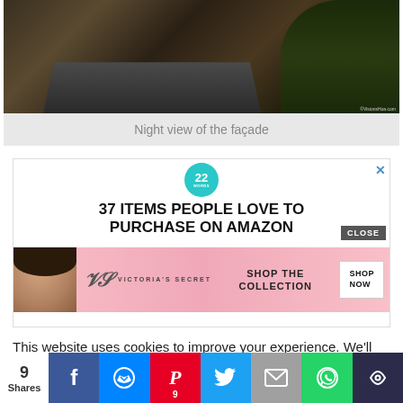[Figure (photo): Night exterior photo of a building facade showing a dark driveway/road, dry landscape, and trees at night]
Night view of the façade
[Figure (infographic): Advertisement: '22 WORDS - 37 ITEMS PEOPLE LOVE TO PURCHASE ON AMAZON' with a Victoria's Secret banner below showing a model and 'SHOP THE COLLECTION / SHOP NOW' button. Close button in top right.]
This website uses cookies to improve your experience. We'll assume you're ok with this, but you can opt-out if you wish.
[Figure (infographic): Share bar with 9 Shares count, Facebook, Messenger, Pinterest (9), Twitter, Email, WhatsApp, and more buttons]